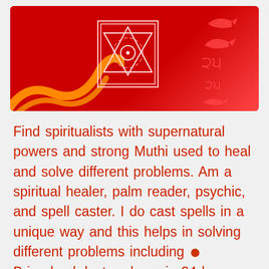[Figure (illustration): Red circular background with a yantra symbol in the center, orange swirl design at bottom left, and red fish/Pisces symbols at the right side]
Find spiritualists with supernatural powers and strong Muthi used to heal and solve different problems. Am a spiritual healer, palm reader, psychic, and spell caster. I do cast spells in a unique way and this helps in solving different problems including ●
Bring back lost ex-lover in 24 hours,
stop cheating,
bind marriage,
fix broken up relationships...